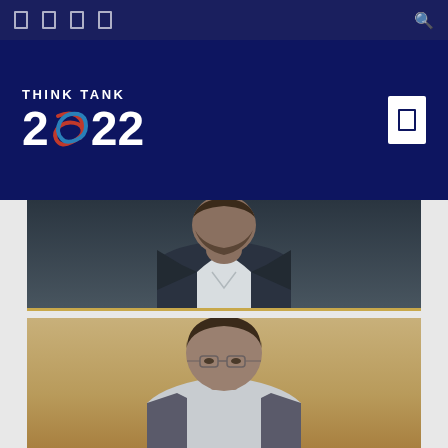Think Tank 2022 - navigation bar with icons and search
[Figure (logo): Think Tank 2022 logo on dark navy background with menu button]
[Figure (photo): Photo of a bearded man in dark suit jacket and white shirt, cropped at chest level]
[Figure (photo): Photo of a man with dark hair and glasses in warm-toned room, cropped at shoulder level]